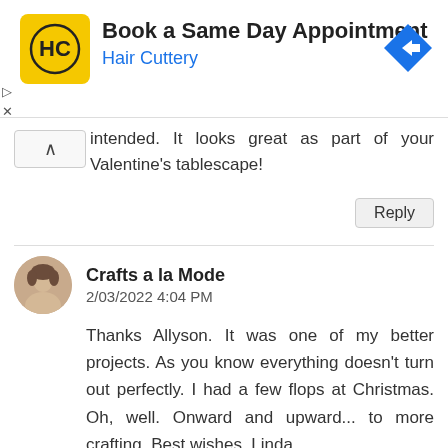[Figure (other): Hair Cuttery advertisement banner: logo with HC letters on yellow background, text 'Book a Same Day Appointment / Hair Cuttery', blue arrow direction sign icon on right]
intended. It looks great as part of your Valentine's tablescape!
Reply
Crafts a la Mode
2/03/2022 4:04 PM

Thanks Allyson. It was one of my better projects. As you know everything doesn't turn out perfectly. I had a few flops at Christmas. Oh, well. Onward and upward... to more crafting. Best wishes, Linda